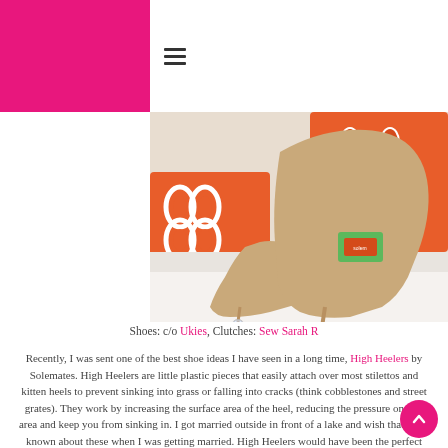≡
[Figure (photo): Gold/nude high heel stiletto shoes with transparent heel protectors, placed in front of orange and white patterned clutch bags on a white surface. A green and red product label is visible on the heel area.]
Shoes: c/o Ukies, Clutches: Sew Sarah R
Recently, I was sent one of the best shoe ideas I have seen in a long time, High Heelers by Solemates. High Heelers are little plastic pieces that easily attach over most stilettos and kitten heels to prevent sinking into grass or falling into cracks (think cobblestones and street grates). They work by increasing the surface area of the heel, reducing the pressure on that area and keep you from sinking in. I got married outside in front of a lake and wish that I had known about these when I was getting married. High Heelers would have been the perfect addition to my bridesmaid gift packs and would have been great to wear myself while walking around the landscaped grounds for pictures.
Solemates  also makes these adorable S.O.S